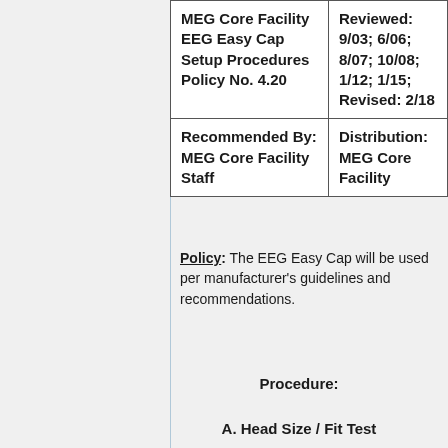| MEG Core Facility
EEG Easy Cap Setup Procedures
Policy No. 4.20 | Reviewed:
9/03; 6/06;
8/07; 10/08;
1/12; 1/15;
Revised: 2/18 |
| Recommended By:
MEG Core Facility Staff | Distribution:
MEG Core Facility |
Policy: The EEG Easy Cap will be used per manufacturer's guidelines and recommendations.
Procedure:
A. Head Size / Fit Test